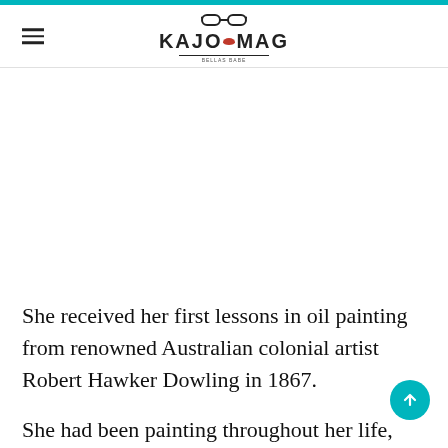KAJOMAG
She received her first lessons in oil painting from renowned Australian colonial artist Robert Hawker Dowling in 1867.
She had been painting throughout her life, starting